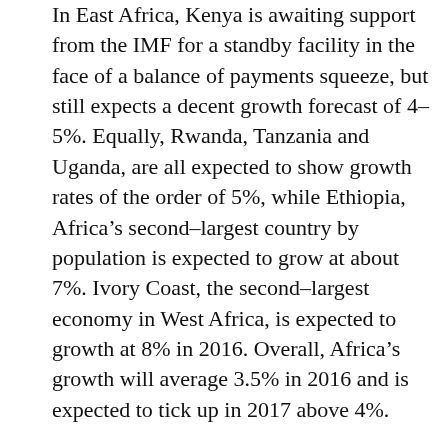In East Africa, Kenya is awaiting support from the IMF for a standby facility in the face of a balance of payments squeeze, but still expects a decent growth forecast of 4–5%. Equally, Rwanda, Tanzania and Uganda, are all expected to show growth rates of the order of 5%, while Ethiopia, Africa's second-largest country by population is expected to grow at about 7%. Ivory Coast, the second-largest economy in West Africa, is expected to growth at 8% in 2016. Overall, Africa's growth will average 3.5% in 2016 and is expected to tick up in 2017 above 4%.
One general impact of low yields bond globally is the demand for higher yielding Africa debt which has spurred issuance of Africa sovereign debt in the Eurobond market is recent years. Africa countries that have issued sovereign